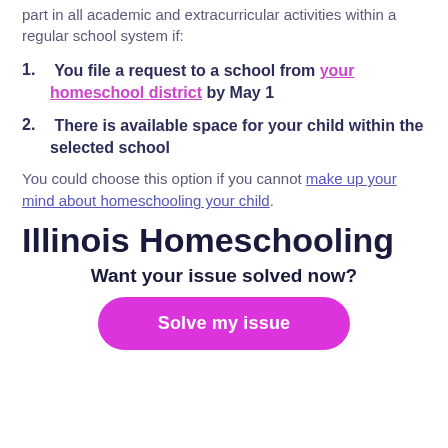part in all academic and extracurricular activities within a regular school system if:
You file a request to a school from your homeschool district by May 1
There is available space for your child within the selected school
You could choose this option if you cannot make up your mind about homeschooling your child.
Illinois Homeschooling
Want your issue solved now?
Solve my issue